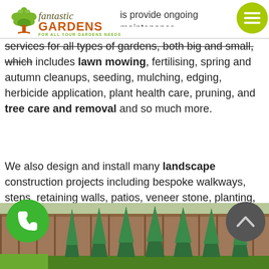Gardens Services
[Figure (logo): Fantastic Gardens logo with tree icon, orange GARDENS text, and green tagline FOR ALL YOUR GARDENS NEEDS]
[Figure (other): Green circular hamburger menu button in top right corner]
services for all types of gardens, both big and small, which includes lawn mowing, fertilising, spring and autumn cleanups, seeding, mulching, edging, herbicide application, plant health care, pruning, and tree care and removal and so much more.
We also design and install many landscape construction projects including bespoke walkways, steps, retaining walls, patios, veneer stone, planting, trans-planting, drainage systems, lawn renovation and installation as well as our range of garden fencing and gates.
[Figure (photo): Garden photo showing tall conical topiary/cypress trees in a row along a wooden fence, green grass path in front]
[Figure (other): Green circular phone call button at bottom left]
[Figure (other): Dark grey circular back-to-top button with upward chevron at bottom right]